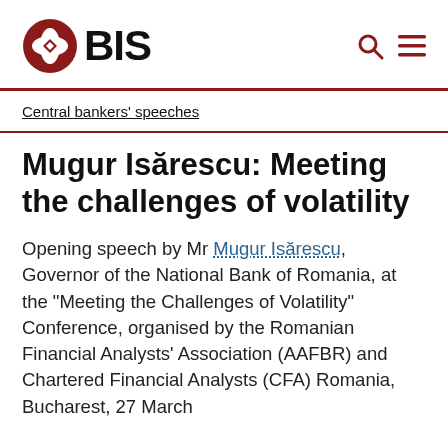[Figure (logo): BIS logo with red diamond-circle emblem and BIS text]
Central bankers' speeches
Mugur Isărescu: Meeting the challenges of volatility
Opening speech by Mr Mugur Isărescu, Governor of the National Bank of Romania, at the "Meeting the Challenges of Volatility" Conference, organised by the Romanian Financial Analysts' Association (AAFBR) and Chartered Financial Analysts (CFA) Romania, Bucharest, 27 March